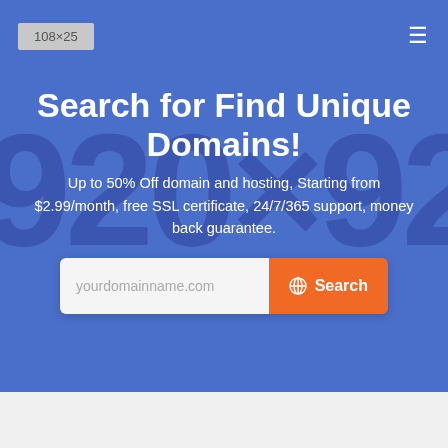[Figure (screenshot): Navigation bar with logo placeholder '108x25' on left and hamburger menu icon on right, blue background]
Search for Find Unique Domains!
Up to 50% Off domain and hosting, Starting from $2.99/month, free SSL certificate, 24/7/365 support, money back guarantee.
[Figure (other): Domain search input bar with placeholder 'yourdomainname.com' and orange Search button with globe icon]